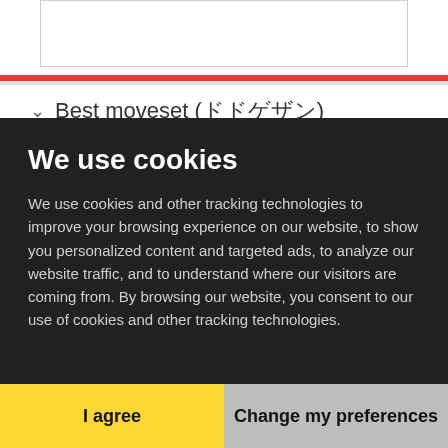Best moveset (ドドゲザン)
Offense ?
12 dps
47.4 dps
Defense
12 dps
25.5 dps
View all »
We use cookies
We use cookies and other tracking technologies to improve your browsing experience on our website, to show you personalized content and targeted ads, to analyze our website traffic, and to understand where our visitors are coming from. By browsing our website, you consent to our use of cookies and other tracking technologies.
I agree
Change my preferences